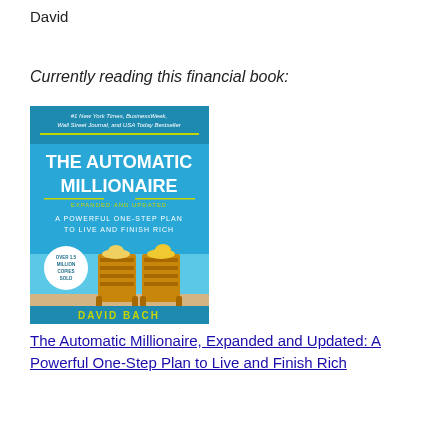David
Currently reading this financial book:
[Figure (photo): Book cover of 'The Automatic Millionaire, Expanded and Updated: A Powerful One-Step Plan to Live and Finish Rich' by David Bach. Blue cover with two beach chairs and hats, yellow title text.]
The Automatic Millionaire, Expanded and Updated: A Powerful One-Step Plan to Live and Finish Rich